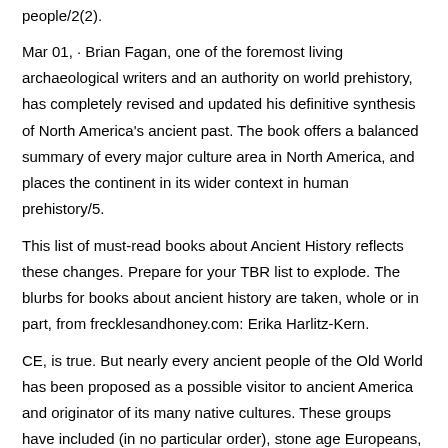people/2(2).
Mar 01,  · Brian Fagan, one of the foremost living archaeological writers and an authority on world prehistory, has completely revised and updated his definitive synthesis of North America's ancient past. The book offers a balanced summary of every major culture area in North America, and places the continent in its wider context in human prehistory/5.
This list of must-read books about Ancient History reflects these changes. Prepare for your TBR list to explode. The blurbs for books about ancient history are taken, whole or in part, from frecklesandhoney.com: Erika Harlitz-Kern.
CE, is true. But nearly every ancient people of the Old World has been proposed as a possible visitor to ancient America and originator of its many native cultures. These groups have included (in no particular order), stone age Europeans, Phoenicians, Greeks, Romans, medieval.
Mysteries of Ancient America book. Read 3 reviews from the world's